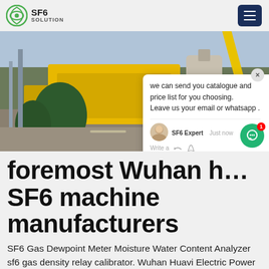SF6 SOLUTION
[Figure (photo): Industrial scene with yellow truck/machinery and equipment at a facility, with chat popup overlay showing message about catalogue and price list]
foremost Wuhan h… SF6 machine manufacturers
SF6 Gas Dewpoint Meter Moisture Water Content Analyzer sf6 gas density relay calibrator. Wuhan Huavi Electric Power Technology Co., Ltd. CN 2